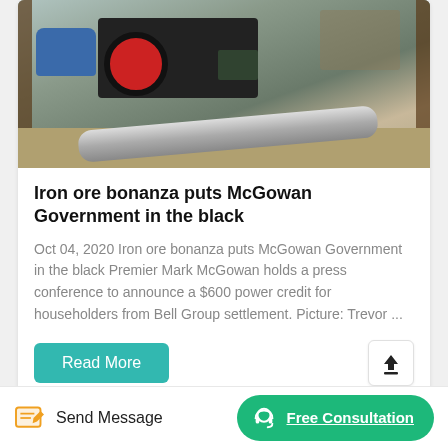[Figure (photo): Outdoor photo of industrial/mining machinery including a blue motor, red-wheeled engine, dark machinery body on wooden pallets, a large grey concrete/grout pipe visible in the foreground, scaffolding poles, and dirt/gravel ground in background.]
Iron ore bonanza puts McGowan Government in the black
Oct 04, 2020 Iron ore bonanza puts McGowan Government in the black Premier Mark McGowan holds a press conference to announce a $600 power credit for householders from Bell Group settlement. Picture: Trevor ...
Read More
[Figure (other): Partial view of a second article card with a light blue/grey photo strip at the bottom of the visible area.]
Send Message
Free Consultation